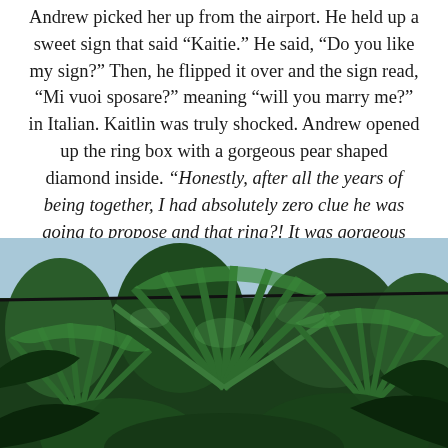Andrew picked her up from the airport. He held up a sweet sign that said “Kaitie.” He said, “Do you like my sign?” Then, he flipped it over and the sign read, “Mi vuoi sposare?” meaning “will you marry me?” in Italian. Kaitlin was truly shocked. Andrew opened up the ring box with a gorgeous pear shaped diamond inside. “Honestly, after all the years of being together, I had absolutely zero clue he was going to propose and that ring?! It was gorgeous and he was gorgeous and it was just a beautiful time in our lives.”
[Figure (photo): Looking up through lush tropical green palm fronds and fan-shaped leaves against a bright sky, with a dark cable or wire crossing near the top.]